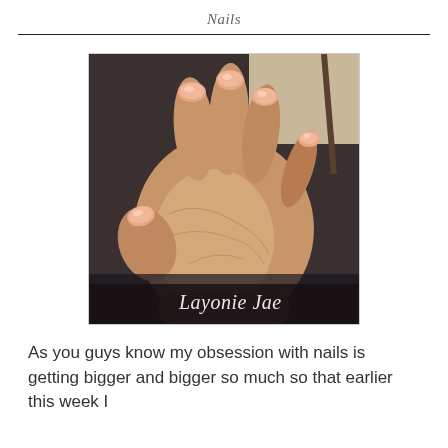Nails
[Figure (photo): A close-up photo of a hand with open palm facing the camera, showing peach/rose gold metallic shimmer nail polish on manicured nails. A watermark reads 'Layonie Jae' in cursive at the bottom right.]
As you guys know my obsession with nails is getting bigger and bigger so much so that earlier this week I